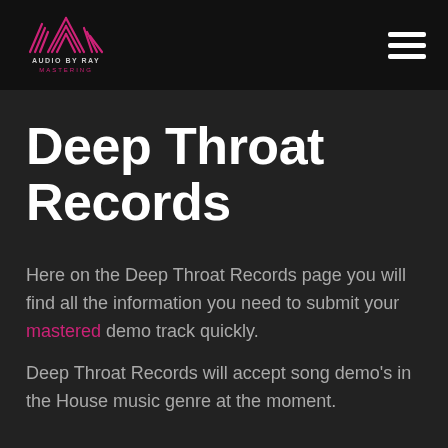[Figure (logo): Audio By Ray Mastering logo — stylized mountain/waveform lines in pink/magenta with text 'AUDIO BY RAY' and 'MASTERING' below]
Deep Throat Records
Here on the Deep Throat Records page you will find all the information you need to submit your mastered demo track quickly.
Deep Throat Records will accept song demo's in the House music genre at the moment.